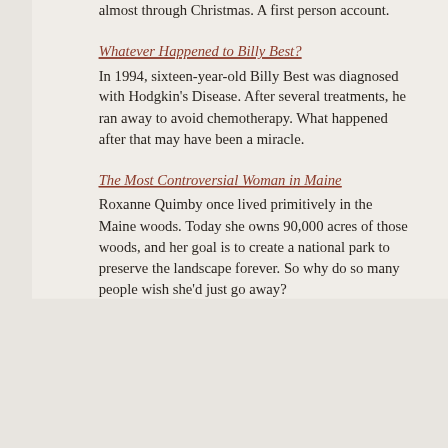almost through Christmas. A first person account.
Whatever Happened to Billy Best?
In 1994, sixteen-year-old Billy Best was diagnosed with Hodgkin's Disease. After several treatments, he ran away to avoid chemotherapy. What happened after that may have been a miracle.
The Most Controversial Woman in Maine
Roxanne Quimby once lived primitively in the Maine woods. Today she owns 90,000 acres of those woods, and her goal is to create a national park to preserve the landscape forever. So why do so many people wish she'd just go away?
Along the Border
Multi-million dollar border stations are rising along our line between US